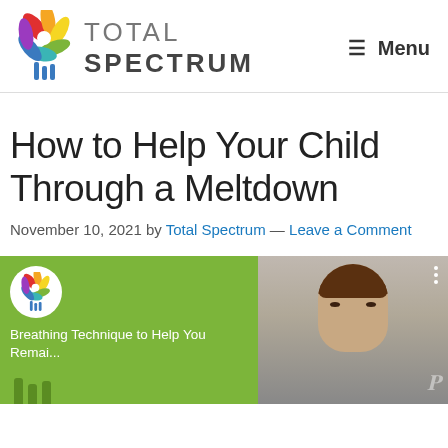[Figure (logo): Total Spectrum colorful flower logo with petals in red, orange, yellow, green, teal, blue, purple]
TOTAL SPECTRUM — Menu
How to Help Your Child Through a Meltdown
November 10, 2021 by Total Spectrum — Leave a Comment
[Figure (screenshot): YouTube video thumbnail showing Total Spectrum logo on green background with text 'Breathing Technique to Help You Remai...' and a woman's face on the right side]